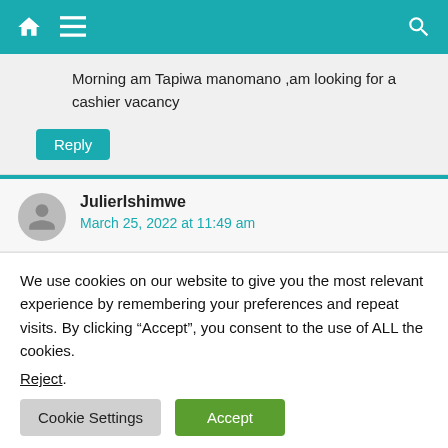Navigation bar with home icon, menu icon, and search icon
Morning am Tapiwa manomano ,am looking for a cashier vacancy
Reply
JulierIshimwe
March 25, 2022 at 11:49 am
We use cookies on our website to give you the most relevant experience by remembering your preferences and repeat visits. By clicking “Accept”, you consent to the use of ALL the cookies.
Reject.
Cookie Settings
Accept